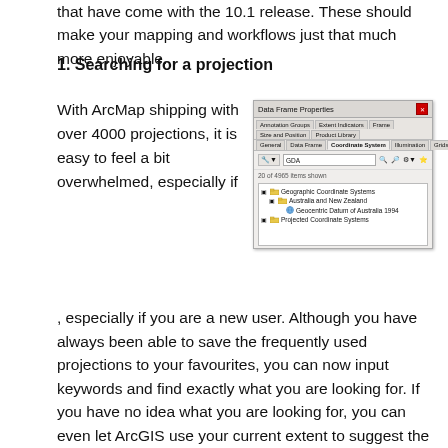that have come with the 10.1 release. These should make your mapping and workflows just that much more enjoyable.
1. Searching for a projection
With ArcMap shipping with over 4000 projections, it is easy to feel a bit overwhelmed, especially if you are a new user. Although you have always been able to save the frequently used projections to your favourites, you can now input keywords and find exactly what you are looking for. If you have no idea what you are looking for, you can even let ArcGIS use your current extent to suggest the best projection.
[Figure (screenshot): Screenshot of the Data Frame Properties dialog in ArcMap showing the Coordinate System tab with a search for 'GDA', displaying 20 of 4965 items shown with a tree listing Geographic Coordinate Systems > Australia and New Zealand > Geocentric Datum of Australia 1994, and Projected Coordinate Systems.]